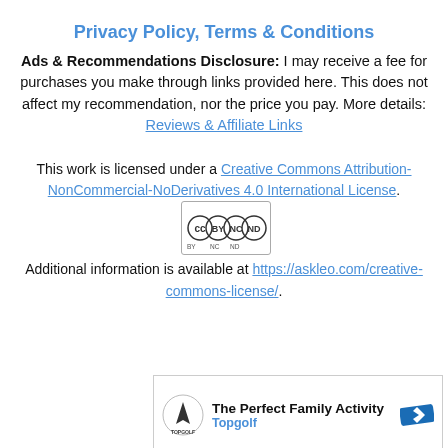Privacy Policy, Terms & Conditions
Ads & Recommendations Disclosure: I may receive a fee for purchases you make through links provided here. This does not affect my recommendation, nor the price you pay. More details: Reviews & Affiliate Links
This work is licensed under a Creative Commons Attribution-NonCommercial-NoDerivatives 4.0 International License. Additional information is available at https://askleo.com/creative-commons-license/.
[Figure (other): Creative Commons BY NC ND license badge icon]
[Figure (other): Advertisement box: The Perfect Family Activity - Topgolf with logo and navigation arrow icon]